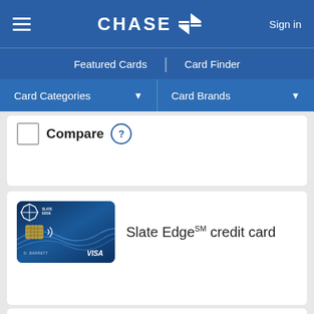CHASE | Featured Cards | Card Finder | Card Categories | Card Brands | Sign in
Compare
[Figure (photo): Slate Edge credit card image - dark blue card with wave design, D. BARRETT name, VISA logo]
Slate Edge℠ credit card
NEW CARDMEMBER OFFER
Low intro APR + intro My Chase Plan® fees†